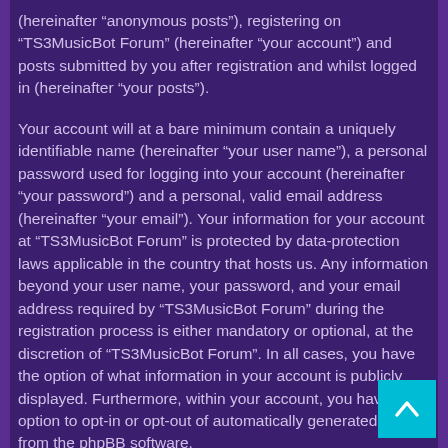(hereinafter “anonymous posts”), registering on “TS3MusicBot Forum” (hereinafter “your account”) and posts submitted by you after registration and whilst logged in (hereinafter “your posts”).
Your account will at a bare minimum contain a uniquely identifiable name (hereinafter “your user name”), a personal password used for logging into your account (hereinafter “your password”) and a personal, valid email address (hereinafter “your email”). Your information for your account at “TS3MusicBot Forum” is protected by data-protection laws applicable in the country that hosts us. Any information beyond your user name, your password, and your email address required by “TS3MusicBot Forum” during the registration process is either mandatory or optional, at the discretion of “TS3MusicBot Forum”. In all cases, you have the option of what information in your account is publicly displayed. Furthermore, within your account, you have the option to opt-in or opt-out of automatically generated emails from the phpBB software.